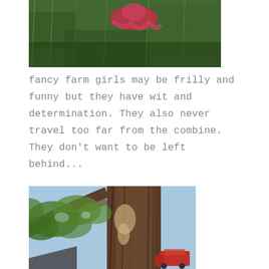[Figure (photo): Photo of a person in red/pink clothing lying or sitting in green grass, viewed from above.]
fancy farm girls may be frilly and funny but they have wit and determination. They also never travel too far from the combine. They don't want to be left behind...
[Figure (photo): Photo taken looking up at a large old tree trunk with damaged bark, green leafy branches against a blue sky, and a red combine harvester visible in the lower right background.]